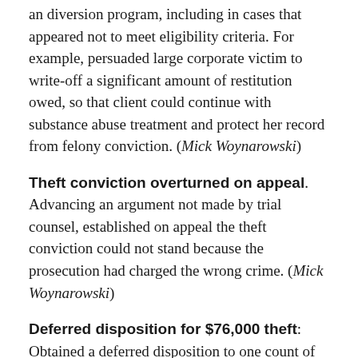an diversion program, including in cases that appeared not to meet eligibility criteria. For example, persuaded large corporate victim to write-off a significant amount of restitution owed, so that client could continue with substance abuse treatment and protect her record from felony conviction. (Mick Woynarowski)
Theft conviction overturned on appeal. Advancing an argument not made by trial counsel, established on appeal the theft conviction could not stand because the prosecution had charged the wrong crime. (Mick Woynarowski)
Deferred disposition for $76,000 theft: Obtained a deferred disposition to one count of Possessing Stolen Property in the First Degree for a 17-year-old accused of being involved in stealing and trafficking more than $76,000 in computer equipment. Client did not serve any time in custody, and was ordered to pay approximately $1,500 in restitution. At the end of the deferral period, the